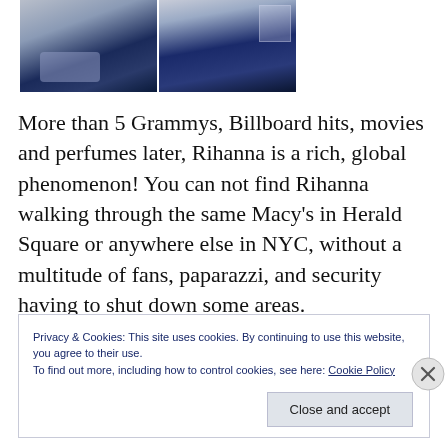[Figure (photo): Two photographs of Rihanna in dark blue outfits on a light background, side by side. The left image shows her seated and the right shows her standing.]
More than 5 Grammys, Billboard hits, movies and perfumes later, Rihanna is a rich, global phenomenon! You can not find Rihanna walking through the same Macy's in Herald Square or anywhere else in NYC, without a multitude of fans, paparazzi, and security having to shut down some areas.
Privacy & Cookies: This site uses cookies. By continuing to use this website, you agree to their use.
To find out more, including how to control cookies, see here: Cookie Policy